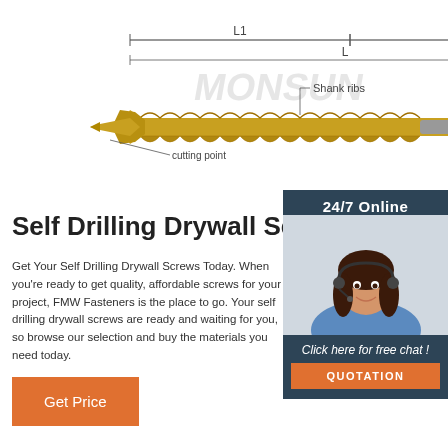[Figure (schematic): Technical diagram of a self-drilling screw showing labeled parts: L1, L2, L (total length), TORX head, shank ribs, and cutting point. Includes a photo of an actual gold-colored screw with a driver bit. Watermark text reads MONSUN.]
Self Drilling Drywall Screw
Get Your Self Drilling Drywall Screws Today. When you're ready to get quality, affordable screws for your project, FMW Fasteners is the place to go. Your self drilling drywall screws are ready and waiting for you, so browse our selection and buy the materials you need today.
[Figure (other): Sidebar widget with dark blue background. Shows '24/7 Online' text, a photo of a smiling woman with a headset (customer service rep), 'Click here for free chat!' text in italic, and an orange QUOTATION button.]
Get Price